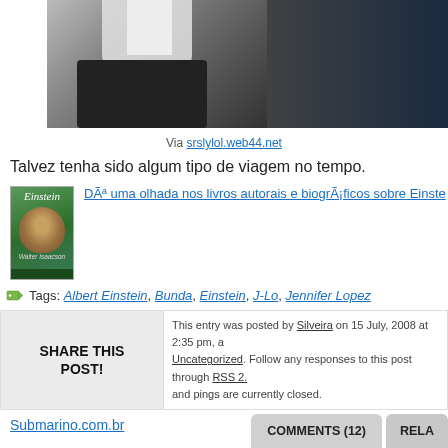[Figure (photo): Dark photo showing a person in a white shirt, partially cropped, with dark background — appears to be a candid or news photo]
Via srslylol.web44.net
Talvez tenha sido algum tipo de viagem no tempo.
[Figure (photo): Book cover of 'Einstein' biography by Walter Isaacson, with Einstein's face on green cover]
Dê uma olhada nos livros autorais e biográficos sobre Einste...
Tags: Albert Einstein, Bunda, Einstein, J-Lo, Jennifer Lopez
SHARE THIS POST!
This entry was posted by Silveira on 15 July, 2008 at 2:35 pm, and filed under Uncategorized. Follow any responses to this post through RSS 2. and pings are currently closed.
Submarino.com.br
COMMENTS (12)
RELAT...